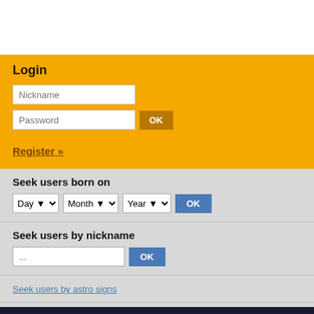Login
Nickname
Password
OK
Register »
Seek users born on
Day Month Year OK
Seek users by nickname
... OK
Seek users by astro signs
Advanced astro search